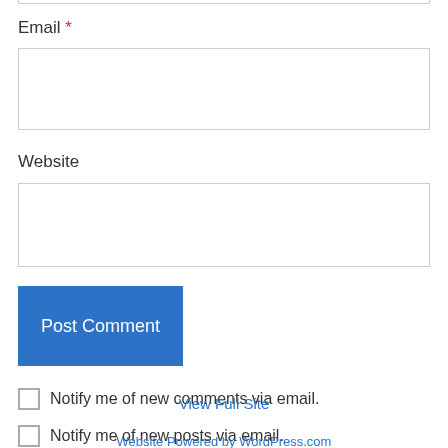Email *
[Figure (other): Empty email input text field]
Website
[Figure (other): Empty website input text field]
Post Comment
Notify me of new comments via email.
Notify me of new posts via email.
View Full Site
Website Powered by WordPress.com